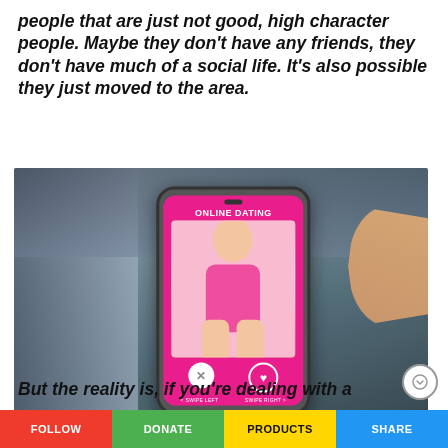people that are just not good, high character people. Maybe they don't have any friends, they don't have much of a social life. It's also possible they just moved to the area.
[Figure (photo): Person holding a smartphone showing an online dating app interface with a pink screen, a profile photo of a woman, and swipe left/right buttons. A second hand is reaching toward the phone from the right.]
Photo by iStock.com/Diy13
But the reality is, if you're dealing with a
FOLLOW   DONATE   PRODUCTS   SHARE